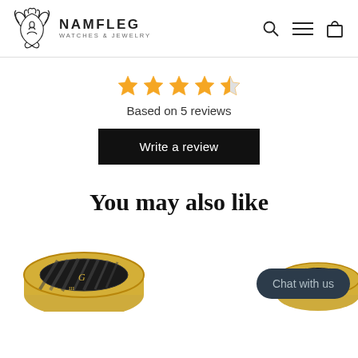NAMFLEG WATCHES & JEWELRY
[Figure (logo): Namfleg phoenix logo with text NAMFLEG WATCHES & JEWELRY and navigation icons (search, menu, cart)]
★★★★½
Based on 5 reviews
Write a review
You may also like
[Figure (photo): Gold and black rings product photos at the bottom of the page, partially visible]
Chat with us